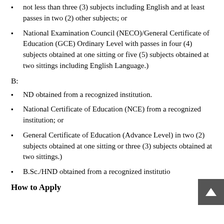not less than three (3) subjects including English and at least passes in two (2) other subjects; or
National Examination Council (NECO)/General Certificate of Education (GCE) Ordinary Level with passes in four (4) subjects obtained at one sitting or five (5) subjects obtained at two sittings including English Language.)
B:
ND obtained from a recognized institution.
National Certificate of Education (NCE) from a recognized institution; or
General Certificate of Education (Advance Level) in two (2) subjects obtained at one sitting or three (3) subjects obtained at two sittings.)
B.Sc./HND obtained from a recognized institutio
How to Apply